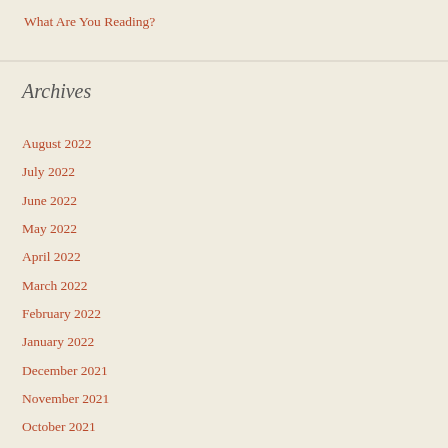What Are You Reading?
Archives
August 2022
July 2022
June 2022
May 2022
April 2022
March 2022
February 2022
January 2022
December 2021
November 2021
October 2021